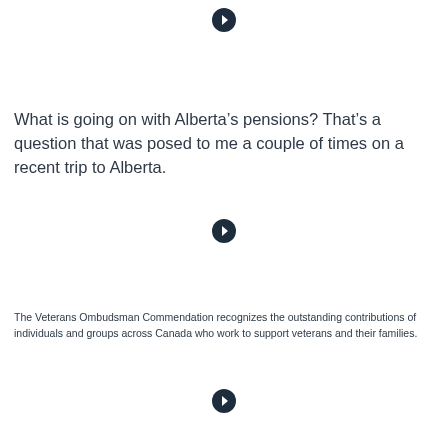[Figure (other): Arrow icon in a circle pointing right]
What is going on with Alberta’s pensions? That’s a question that was posed to me a couple of times on a recent trip to Alberta.
[Figure (other): Arrow icon in a circle pointing right]
The Veterans Ombudsman Commendation recognizes the outstanding contributions of individuals and groups across Canada who work to support veterans and their families.
[Figure (other): Arrow icon in a circle pointing right]